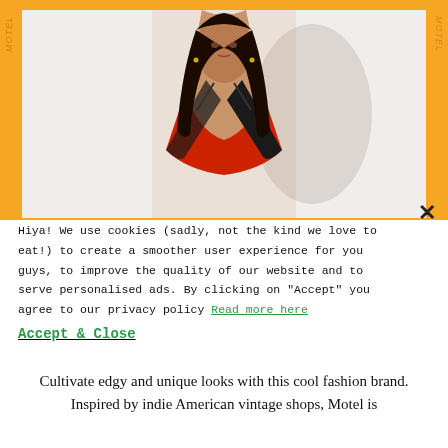[Figure (photo): Fashion model wearing a red and black outfit, photographed against a white background, displayed within an orange-bordered frame. Small watermark text visible on the left and right sides of the orange border.]
Hiya! We use cookies (sadly, not the kind we love to eat!) to create a smoother user experience for you guys, to improve the quality of our website and to serve personalised ads. By clicking on "Accept" you agree to our privacy policy Read more here
Accept & Close
Cultivate edgy and unique looks with this cool fashion brand. Inspired by indie American vintage shops, Motel is